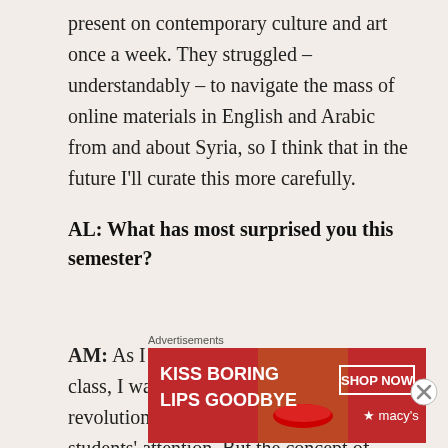present on contemporary culture and art once a week. They struggled – understandably – to navigate the mass of online materials in English and Arabic from and about Syria, so I think that in the future I'll curate this more carefully.
AL: What has most surprised you this semester?
AM: As I said above, when I planned the class, I was expecting the question of revolution versus civil war to occupy the students' attention. But the concept of revolution just didn't grab their
[Figure (other): Advertisement banner for Macy's lipstick promotion: 'KISS BORING LIPS GOODBYE' with a woman's face showing red lipstick, and 'SHOP NOW' button with Macy's star logo]